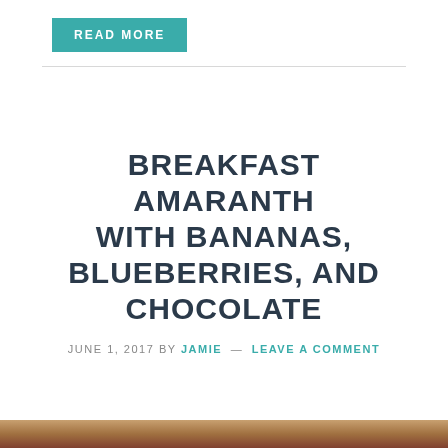READ MORE
BREAKFAST AMARANTH WITH BANANAS, BLUEBERRIES, AND CHOCOLATE
JUNE 1, 2017 by JAMIE — LEAVE A COMMENT
[Figure (photo): Bottom strip of a food photo, partially visible at bottom of page]